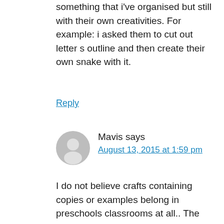something that i've organised but still with their own creativities. For example: i asked them to cut out letter s outline and then create their own snake with it.
Reply
Mavis says
August 13, 2015 at 1:59 pm
I do not believe crafts containing copies or examples belong in preschools classrooms at all.. The message you send is: “This is what it must look like. Your own ideas are not good, rather do it like this.” Killing confidence, creativity, divergent thinking and opportunities to